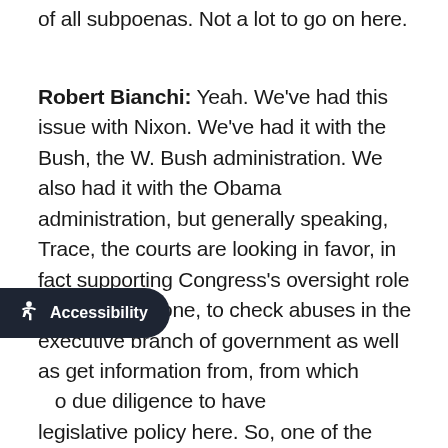of all subpoenas. Not a lot to go on here.
Robert Bianchi: Yeah. We've had this issue with Nixon. We've had it with the Bush, the W. Bush administration. We also had it with the Obama administration, but generally speaking, Trace, the courts are looking in favor, in fact supporting Congress's oversight role on the article one, to check abuses in the executive branch of government as well as get information from, from which [people] do due diligence to have legislative policy here. So, one of the